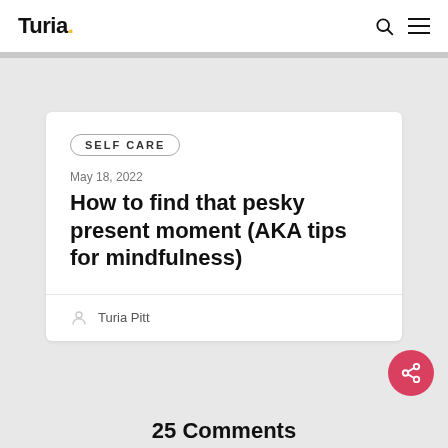Turia.
Self Care
May 18, 2022
How to find that pesky present moment (AKA tips for mindfulness)
Turia Pitt
25 Comments